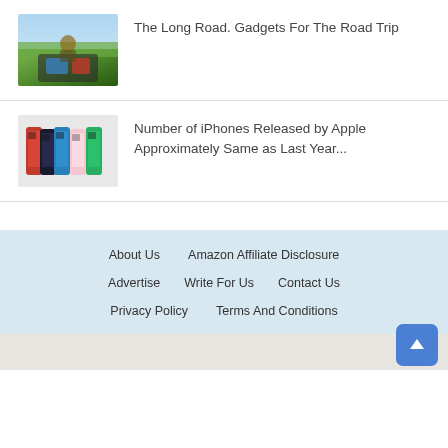[Figure (photo): Thumbnail image of road trip scene with gadgets mounted in a vehicle, green outdoor background]
The Long Road. Gadgets For The Road Trip
[Figure (photo): Thumbnail image of multiple iPhone 14 models in various colors: red, black, blue, pink, green]
Number of iPhones Released by Apple Approximately Same as Last Year...
About Us   Amazon Affiliate Disclosure   Advertise   Write For Us   Contact Us   Privacy Policy   Terms And Conditions